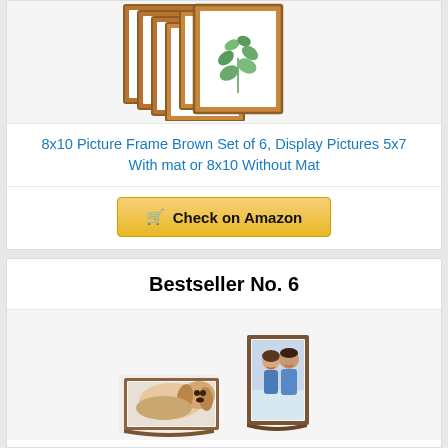[Figure (photo): Stack of 6 brown wooden picture frames arranged in a staircase pattern, the front frame showing a botanical watercolor print]
8x10 Picture Frame Brown Set of 6, Display Pictures 5x7 With mat or 8x10 Without Mat
Check on Amazon
Bestseller No. 6
[Figure (photo): Two small wooden picture frame stands, one horizontal showing a sleeping Cavalier King Charles Spaniel dog, one vertical showing a couple smiling]